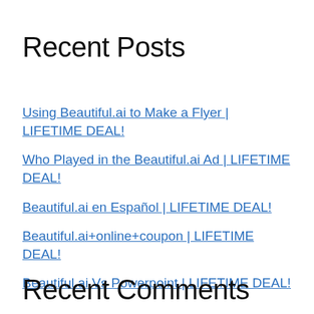Recent Posts
Using Beautiful.ai to Make a Flyer | LIFETIME DEAL!
Who Played in the Beautiful.ai Ad | LIFETIME DEAL!
Beautiful.ai en Español | LIFETIME DEAL!
Beautiful.ai+online+coupon | LIFETIME DEAL!
Beautiful.ai Vs Powerpoint | LIFETIME DEAL!
Recent Comments